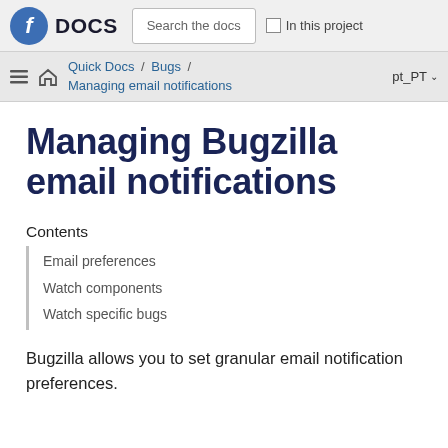Fedora DOCS   Search the docs   In this project
Quick Docs / Bugs / Managing email notifications   pt_PT
Managing Bugzilla email notifications
Contents
Email preferences
Watch components
Watch specific bugs
Bugzilla allows you to set granular email notification preferences.